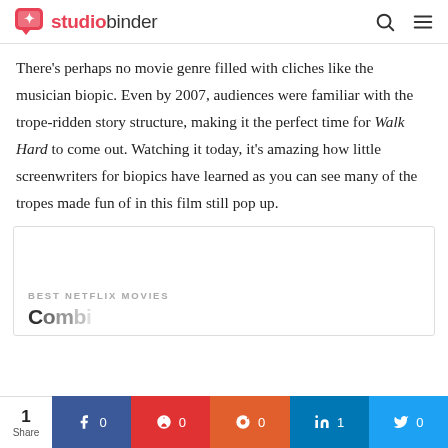studiobinder
There’s perhaps no movie genre filled with cliches like the musician biopic. Even by 2007, audiences were familiar with the trope-ridden story structure, making it the perfect time for Walk Hard to come out. Watching it today, it’s amazing how little screenwriters for biopics have learned as you can see many of the tropes made fun of in this film still pop up.
[Figure (other): Promotional content box with label BEST NETFLIX MOVIES and partial title text]
1 Share | Facebook 0 | Pinterest 0 | Reddit 0 | LinkedIn 1 | Twitter 0